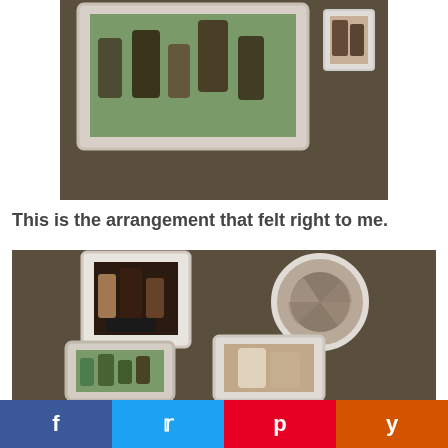[Figure (photo): Photo showing picture frames and a decorative item arranged on a dark carpet floor, viewed from above. Two white frames visible with family photos.]
This is the arrangement that felt right to me.
[Figure (photo): Photo showing an arrangement of family photo frames and a circular decorative mirror on a dark carpet. Four items visible: white square frame with family photo (top left), circular mosaic mirror (top right), white ornate frame with group photo (bottom left), white frame with portrait photo (bottom right).]
[Figure (infographic): Social sharing bar with four buttons: Facebook (blue), Twitter (light blue), Pinterest (red), Yummly (orange).]